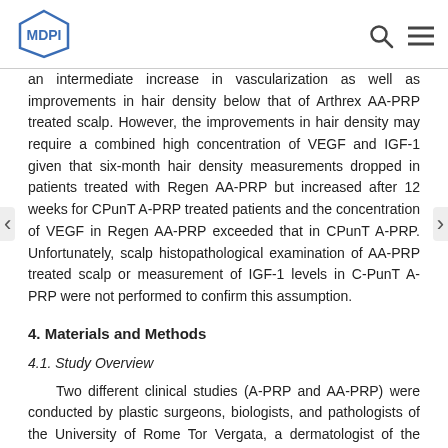MDPI
an intermediate increase in vascularization as well as improvements in hair density below that of Arthrex AA-PRP treated scalp. However, the improvements in hair density may require a combined high concentration of VEGF and IGF-1 given that six-month hair density measurements dropped in patients treated with Regen AA-PRP but increased after 12 weeks for CPunT A-PRP treated patients and the concentration of VEGF in Regen AA-PRP exceeded that in CPunT A-PRP. Unfortunately, scalp histopathological examination of AA-PRP treated scalp or measurement of IGF-1 levels in C-PunT A-PRP were not performed to confirm this assumption.
4. Materials and Methods
4.1. Study Overview
Two different clinical studies (A-PRP and AA-PRP) were conducted by plastic surgeons, biologists, and pathologists of the University of Rome Tor Vergata, a dermatologist of the Catholic University of the Sacred Heart of Rome, and Cole Hair